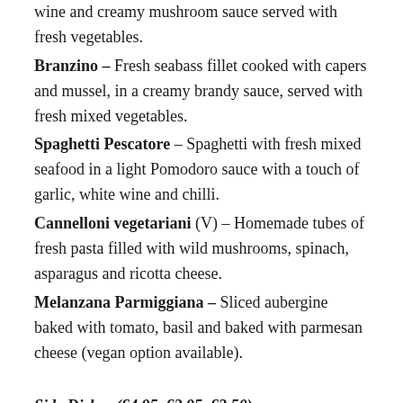wine and creamy mushroom sauce served with fresh vegetables.
Branzino – Fresh seabass fillet cooked with capers and mussel, in a creamy brandy sauce, served with fresh mixed vegetables.
Spaghetti Pescatore – Spaghetti with fresh mixed seafood in a light Pomodoro sauce with a touch of garlic, white wine and chilli.
Cannelloni vegetariani (V) – Homemade tubes of fresh pasta filled with wild mushrooms, spinach, asparagus and ricotta cheese.
Melanzana Parmiggiana – Sliced aubergine baked with tomato, basil and baked with parmesan cheese (vegan option available).
Side Dishes (£4.95, £3.95, £3.50)
Mixed Sautéed Vegetables, Garlic Mushrooms